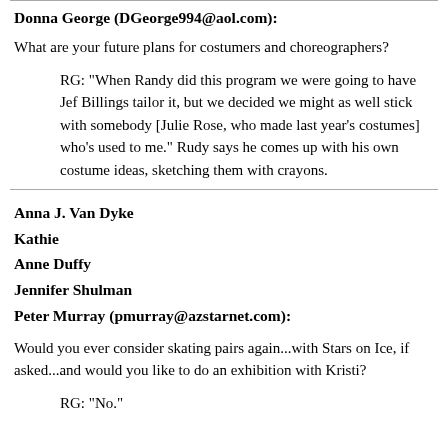Donna George (DGeorge994@aol.com):
What are your future plans for costumers and choreographers?
RG: "When Randy did this program we were going to have Jef Billings tailor it, but we decided we might as well stick with somebody [Julie Rose, who made last year's costumes] who's used to me." Rudy says he comes up with his own costume ideas, sketching them with crayons.
Anna J. Van Dyke
Kathie
Anne Duffy
Jennifer Shulman
Peter Murray (pmurray@azstarnet.com):
Would you ever consider skating pairs again...with Stars on Ice, if asked...and would you like to do an exhibition with Kristi?
RG: "No."